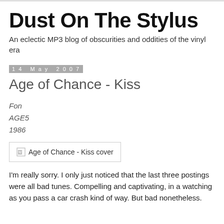Dust On The Stylus
An eclectic MP3 blog of obscurities and oddities of the vinyl era
14 May 2007
Age of Chance - Kiss
Fon
AGE5
1986
[Figure (photo): Age of Chance - Kiss cover (broken image placeholder)]
I'm really sorry. I only just noticed that the last three postings were all bad tunes. Compelling and captivating, in a watching as you pass a car crash kind of way. But bad nonetheless.